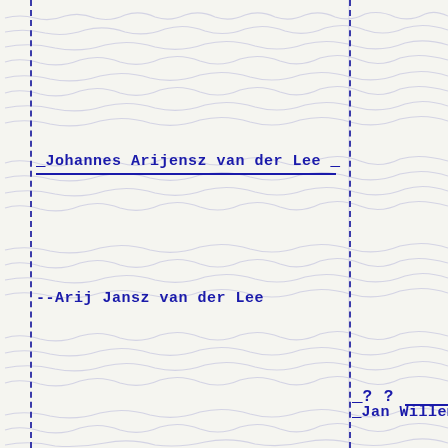[Figure (other): Manuscript page background with handwritten historical Dutch text in faded blue/grey ink, used as a watermark-style background for a genealogical index card or record]
_Johannes Arijensz van der Lee _
_? ?
--Arij Jansz van der Lee
_Jan Willemsz _